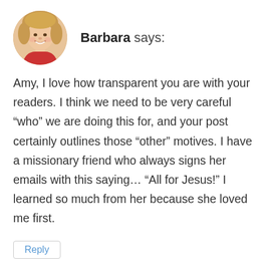[Figure (photo): Circular avatar photo of a smiling middle-aged woman with blonde hair wearing a red top]
Barbara says:
Amy, I love how transparent you are with your readers. I think we need to be very careful “who” we are doing this for, and your post certainly outlines those “other” motives. I have a missionary friend who always signs her emails with this saying… “All for Jesus!” I learned so much from her because she loved me first.
Reply